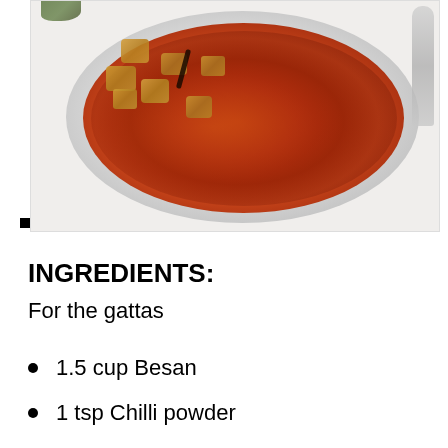[Figure (photo): A white bowl containing Indian curry dish (gatta curry) with golden chickpea flour dumplings in a red/orange spiced sauce, viewed from above, with a spoon visible at the right edge.]
INGREDIENTS:
For the gattas
1.5 cup Besan
1 tsp Chilli powder